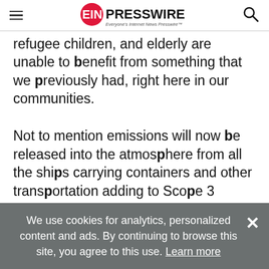EIN PRESSWIRE — Everyone's Internet News Presswire
refugee children, and elderly are unable to benefit from something that we previously had, right here in our communities.
Not to mention emissions will now be released into the atmosphere from all the ships carrying containers and other transportation adding to Scope 3 emissions. Climate change matters, and we have disadvantaged people in our country who can be helped with upgraded computers.
We use cookies for analytics, personalized content and ads. By continuing to browse this site, you agree to this use. Learn more